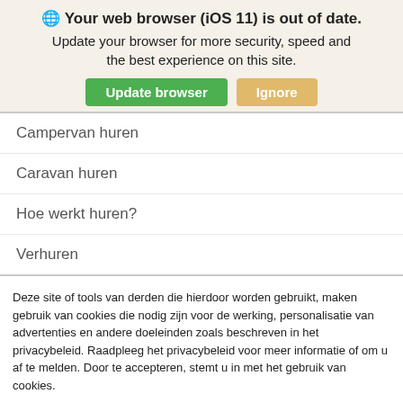🌐 Your web browser (iOS 11) is out of date.
Update your browser for more security, speed and the best experience on this site.
Campervan huren
Caravan huren
Hoe werkt huren?
Verhuren
Deze site of tools van derden die hierdoor worden gebruikt, maken gebruik van cookies die nodig zijn voor de werking, personalisatie van advertenties en andere doeleinden zoals beschreven in het privacybeleid. Raadpleeg het privacybeleid voor meer informatie of om u af te melden. Door te accepteren, stemt u in met het gebruik van cookies.
Privacybeleid